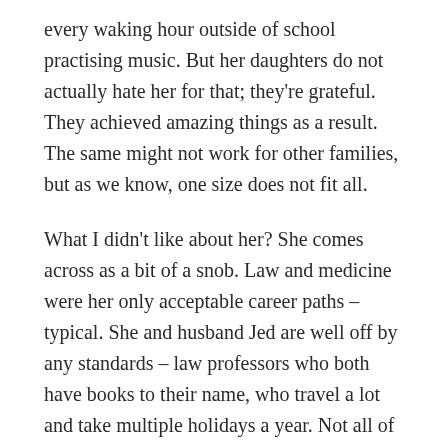every waking hour outside of school practising music. But her daughters do not actually hate her for that; they're grateful. They achieved amazing things as a result. The same might not work for other families, but as we know, one size does not fit all.
What I didn't like about her? She comes across as a bit of a snob. Law and medicine were her only acceptable career paths – typical. She and husband Jed are well off by any standards – law professors who both have books to their name, who travel a lot and take multiple holidays a year. Not all of us can afford to live such a cultured lifestyle by her definition. (Sure, I wish my parents had taken us travelling more. We never went on holidays, domestic or otherwise. And yet, can I really blame them? I found myself perusing the specials board at the fish and chip shop the other